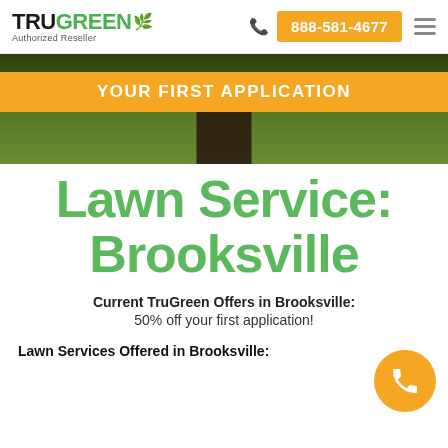TRUGREEN Authorized Reseller | 888-581-4677
[Figure (photo): Hero banner section with grass/lawn background, person silhouette, and orange banner reading YOUR FIRST APPLICATION]
Lawn Service: Brooksville
Current TruGreen Offers in Brooksville: 50% off your first application!
Lawn Services Offered in Brooksville: